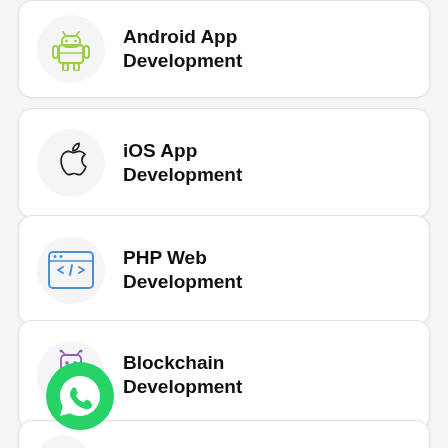Android App Development
iOS App Development
PHP Web Development
Blockchain Development
AR App